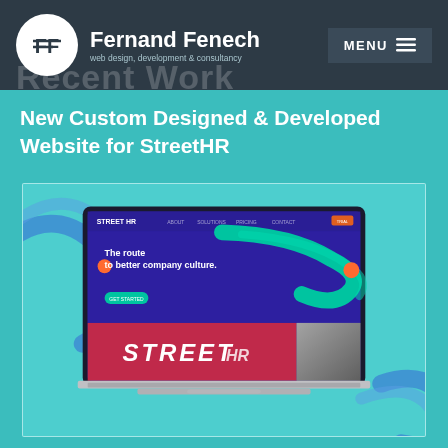Fernand Fenech — web design, development & consultancy | MENU
Recent Work
New Custom Designed & Developed Website for StreetHR
[Figure (screenshot): Laptop displaying the StreetHR website mockup with purple hero section reading 'The route to better company culture.' and a red/terracotta lower section with 'STREET HR' text, on a teal background with decorative blue arcs]